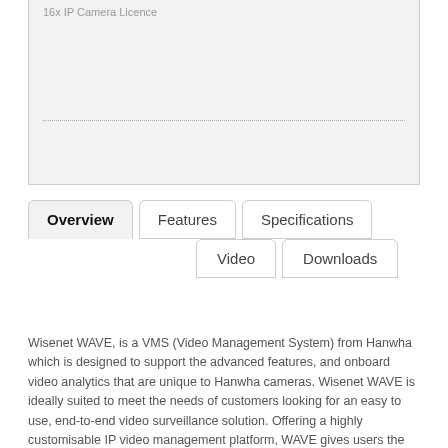16x IP Camera Licence
Overview | Features | Specifications | Video | Downloads
Wisenet WAVE, is a VMS (Video Management System) from Hanwha which is designed to support the advanced features, and onboard video analytics that are unique to Hanwha cameras. Wisenet WAVE is ideally suited to meet the needs of customers looking for an easy to use, end-to-end video surveillance solution. Offering a highly customisable IP video management platform, WAVE gives users the ability to create tailored network video solutions for any type of project, on any device. Wisenet WAVE includes a multi-server redundant fail-over, which is built into the software and does not require any additional fail-over licences. Lightweight and ready to be activated with only a few clicks, this system is a dream for installers. An intuitive 'drag and drop' interface makes it effortless for operators to set up a display of live and recorded images on a single screen or video wall, with customisable layouts and sizes. Scaling up to a